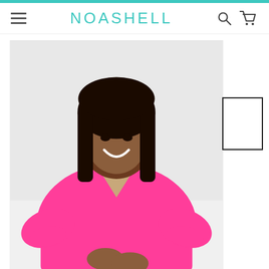[Figure (screenshot): Teal top navigation bar stripe]
[Figure (screenshot): Noashell e-commerce website navigation bar with hamburger menu, NOASHELL logo in teal, search and cart icons]
[Figure (photo): Woman wearing a hot pink v-neck t-shirt, smiling, plus-size fashion product photo on white background]
[Figure (photo): Small white thumbnail image placeholder with black border, representing a secondary product image]